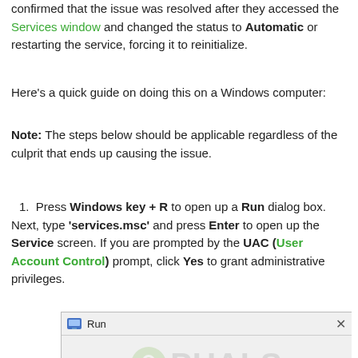confirmed that the issue was resolved after they accessed the Services window and changed the status to Automatic or restarting the service, forcing it to reinitialize.
Here's a quick guide on doing this on a Windows computer:
Note: The steps below should be applicable regardless of the culprit that ends up causing the issue.
Press Windows key + R to open up a Run dialog box. Next, type 'services.msc' and press Enter to open up the Service screen. If you are prompted by the UAC (User Account Control) prompt, click Yes to grant administrative privileges.
[Figure (screenshot): Run dialog box window screenshot with Appuals watermark overlay. Title bar shows 'Run' with a run icon. Body shows Windows run icon on left and text 'Type the name of a program, folder, document, or Internet resource, and Windows will open it for you.']